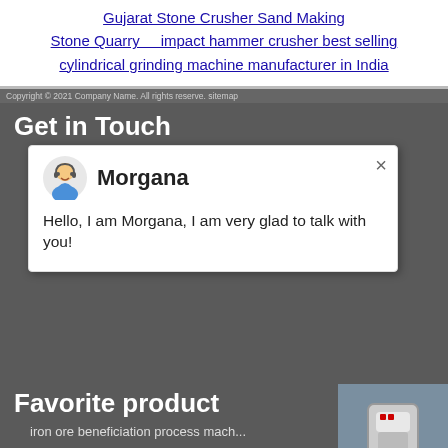Gujarat Stone Crusher Sand Making   Stone Quarry     impact hammer crusher best selling   cylindrical grinding machine manufacturer in India
Copyright © 2021 Company Name All rights reserve. sitemap
Get in Touch
[Figure (screenshot): Chat popup with avatar of Morgana, close button, name 'Morgana', and message 'Hello, I am Morgana, I am very glad to talk with you!']
Favorite product
iron ore beneficiation process mach...
jaw crusher estimetted cost stone c...
flowchart crusher stone crusher com...
lines for processing diamondslines ...
impact crusher dimensi
granite quarry sale sri lanka
Popular Posts
[Figure (photo): Industrial stone crusher machine photo on right sidebar]
1
Click me to chat>>
Enquiry
mumumugoods